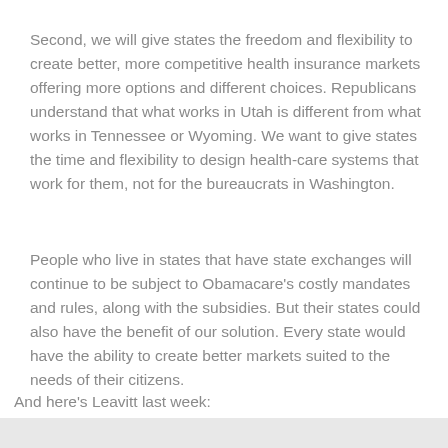Second, we will give states the freedom and flexibility to create better, more competitive health insurance markets offering more options and different choices. Republicans understand that what works in Utah is different from what works in Tennessee or Wyoming. We want to give states the time and flexibility to design health-care systems that work for them, not for the bureaucrats in Washington.
People who live in states that have state exchanges will continue to be subject to Obamacare's costly mandates and rules, along with the subsidies. But their states could also have the benefit of our solution. Every state would have the ability to create better markets suited to the needs of their citizens.
And here's Leavitt last week: